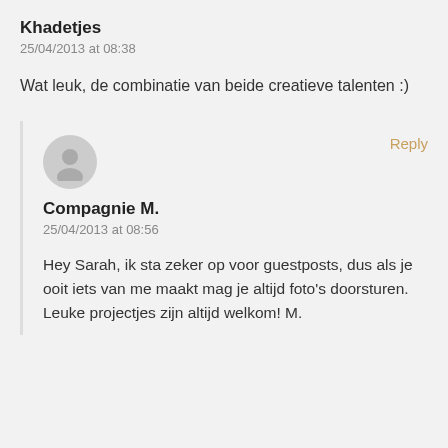Khadetjes
25/04/2013 at 08:38
Wat leuk, de combinatie van beide creatieve talenten :)
[Figure (illustration): Gray circular avatar placeholder icon with silhouette of a person]
Reply
Compagnie M.
25/04/2013 at 08:56
Hey Sarah, ik sta zeker op voor guestposts, dus als je ooit iets van me maakt mag je altijd foto's doorsturen. Leuke projectjes zijn altijd welkom! M.